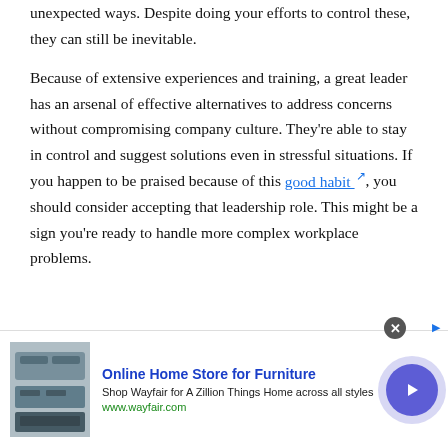unexpected ways. Despite doing your efforts to control these, they can still be inevitable.
Because of extensive experiences and training, a great leader has an arsenal of effective alternatives to address concerns without compromising company culture. They're able to stay in control and suggest solutions even in stressful situations. If you happen to be praised because of this good habit, you should consider accepting that leadership role. This might be a sign you're ready to handle more complex workplace problems.
[Figure (other): Advertisement banner for Wayfair Online Home Store for Furniture with an image of kitchen appliances and a blue circular navigation button.]